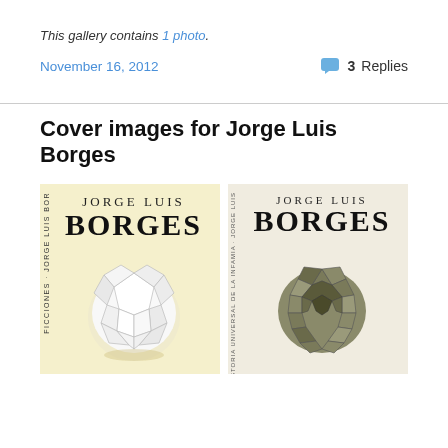This gallery contains 1 photo.
November 16, 2012   3 Replies
Cover images for Jorge Luis Borges
[Figure (photo): Two book covers for Jorge Luis Borges editions: left is 'Ficciones' with yellow background and white origami/geometric paper ball; right has a neutral background with a spiky dark green origami ball, both showing 'JORGE LUIS BORGES' in large serif type.]